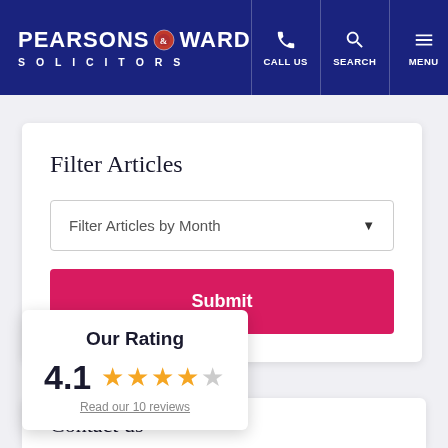PEARSONS & WARD SOLICITORS — CALL US | SEARCH | MENU
Filter Articles
Filter Articles by Month
Submit
Our Rating
4.1 — 4 gold stars, 1 gray star
Read our 10 reviews
Contact us